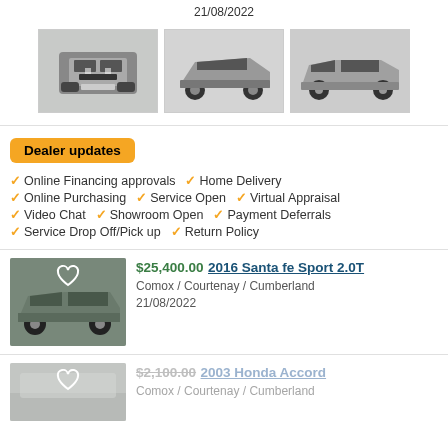21/08/2022
[Figure (photo): Three Jeep Gladiator trucks shown from front, side-front angle, and side view]
Dealer updates
Online Financing approvals
Home Delivery
Online Purchasing
Service Open
Virtual Appraisal
Video Chat
Showroom Open
Payment Deferrals
Service Drop Off/Pick up
Return Policy
[Figure (photo): 2016 Santa Fe Sport 2.0T vehicle photo]
$25,400.00 2016 Santa fe Sport 2.0T
Comox / Courtenay / Cumberland
21/08/2022
[Figure (photo): 2003 Honda Accord vehicle photo (partially visible)]
$2,100.00 2003 Honda Accord
Comox / Courtenay / Cumberland